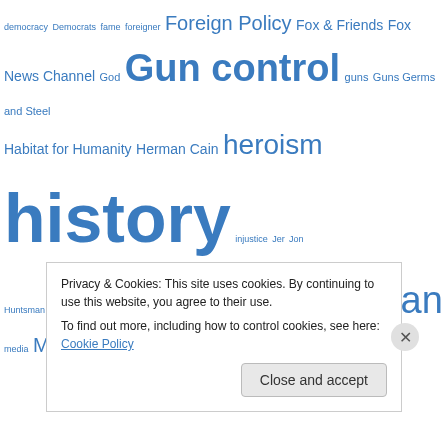[Figure (infographic): Tag cloud with political and social topics in varying font sizes and blue color. Terms include: democracy, Democrats, fame, foreigner, Foreign Policy, Fox & Friends, Fox News Channel, God, Gun control, guns, Guns Germs and Steel, Habitat for Humanity, Herman Cain, heroism, history, injustice, Jer, Jon Huntsman, justice, Lincoln, love, Martin Seligman, media, Michele Bachmann, middle east, Mitt Romney, narrative, Newt Gingrich, Obama, Osama bin Laden, Outliers, Philosophy, Politico, politics, Positive psychology, President, primals, Prison, Psychology, Republican, Republicans]
Privacy & Cookies: This site uses cookies. By continuing to use this website, you agree to their use. To find out more, including how to control cookies, see here: Cookie Policy